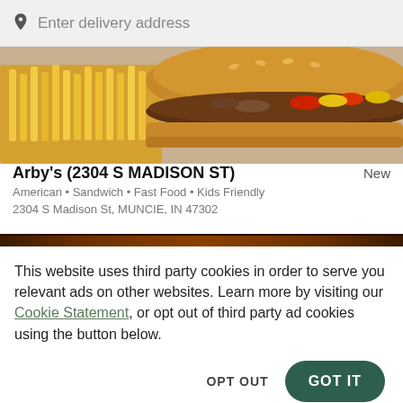Enter delivery address
[Figure (photo): Food photo showing a sub sandwich with toppings and crinkle-cut fries on the side]
Arby's (2304 S MADISON ST)
New
American • Sandwich • Fast Food • Kids Friendly
2304 S Madison St, MUNCIE, IN 47302
This website uses third party cookies in order to serve you relevant ads on other websites. Learn more by visiting our Cookie Statement, or opt out of third party ad cookies using the button below.